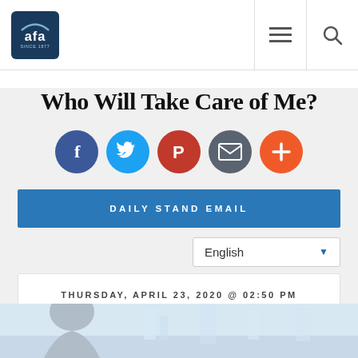AFA (since 1877) — navigation header with hamburger menu and search icon
Who Will Take Care of Me?
[Figure (infographic): Row of five social sharing buttons: Facebook (dark blue circle with f), Twitter (light blue circle with bird icon), Parler (red circle with P), Email (dark gray circle with envelope), Plus/More (orange circle with +)]
DAILY STAND EMAIL
English
THURSDAY, APRIL 23, 2020 @ 02:50 PM
[Figure (photo): Partial photo of an elderly person visible at the bottom of the page]